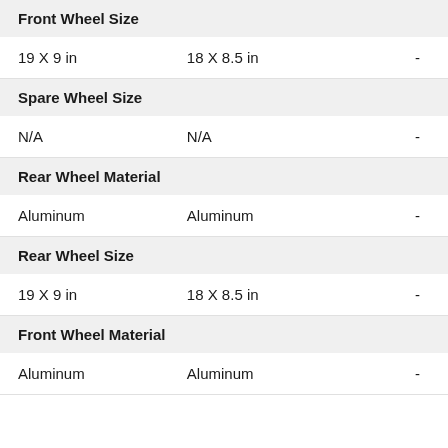Front Wheel Size
19 X 9 in    18 X 8.5 in    -
Spare Wheel Size
N/A    N/A    -
Rear Wheel Material
Aluminum    Aluminum    -
Rear Wheel Size
19 X 9 in    18 X 8.5 in    -
Front Wheel Material
Aluminum    Aluminum    -